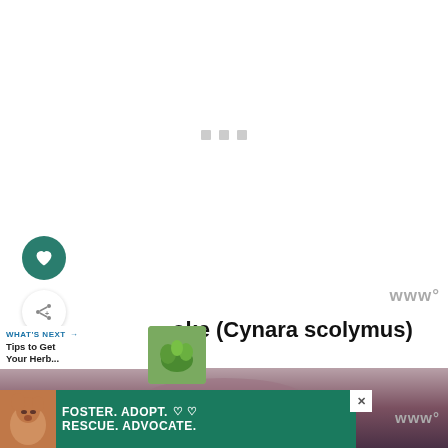[Figure (other): White loading area with three gray square dots centered, representing an image loading placeholder]
[Figure (other): Dark teal circular favorite/heart button on left side]
[Figure (other): White circular share button with share icon below the heart button]
www°
[Figure (other): WHAT'S NEXT bar with thumbnail showing herb garden image and text 'Tips to Get Your Herb...']
oke (Cynara scolymus)
[Figure (photo): Dark blurred photo strip showing a food or plant scene]
[Figure (other): Advertisement banner: FOSTER. ADOPT. RESCUE. ADVOCATE. with dog image and heart icons]
www°